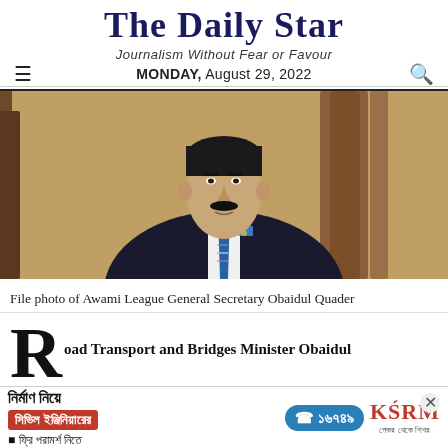The Daily Star
Journalism Without Fear or Favour
MONDAY, August 29, 2022
[Figure (photo): File photo of Awami League General Secretary Obaidul Quader — a man in a dark suit with a blue striped tie, seated, with a wooden chair visible in the background]
File photo of Awami League General Secretary Obaidul Quader
Road Transport and Bridges Minister Obaidul
[Figure (other): Advertisement banner in Bengali: 'নির্মাণ নিয়ে সিভিল ইঞ্জিনিয়ারের ফ্রি পরামর্শ নিতে' with phone number ১৬৭৪৯ and KSRM logo]